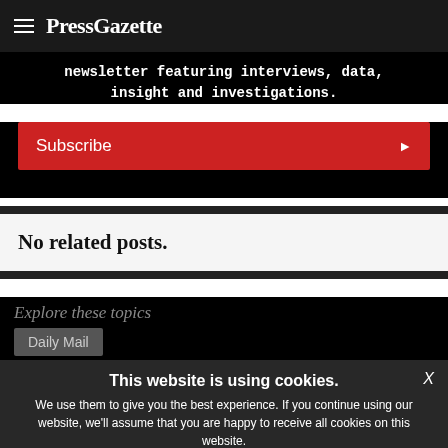PressGazette
newsletter featuring interviews, data, insight and investigations.
Subscribe
No related posts.
This website is using cookies. We use them to give you the best experience. If you continue using our website, we'll assume that you are happy to receive all cookies on this website.
Continue   Learn more